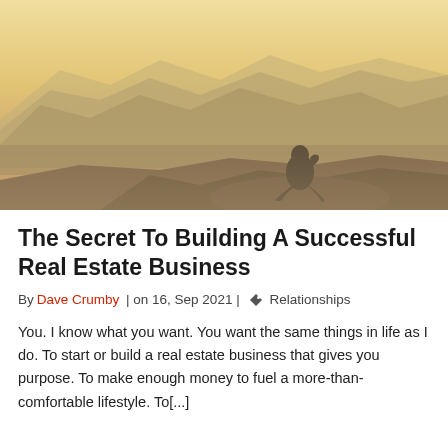[Figure (photo): A person crouching on a rocky peak overlooking a misty mountain landscape, photographed from behind in silhouette against a warm golden-haze sky.]
The Secret To Building A Successful Real Estate Business
By Dave Crumby | on 16, Sep 2021 | Relationships
You. I know what you want. You want the same things in life as I do. To start or build a real estate business that gives you purpose. To make enough money to fuel a more-than-comfortable lifestyle. To[...]